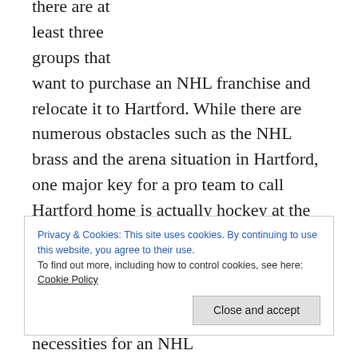there are at least three groups that want to purchase an NHL franchise and relocate it to Hartford. While there are numerous obstacles such as the NHL brass and the arena situation in Hartford, one major key for a pro team to call Hartford home is actually hockey at the college level. True a new arena is a necessity despite the 35 million dollars in upgrades Malloy has said will be going into the aging XL Center, but at the end of the day it will be the interest in hockey that will get the NHL back. Arenas can be built,
Privacy & Cookies: This site uses cookies. By continuing to use this website, you agree to their use.
To find out more, including how to control cookies, see here: Cookie Policy
arena is one of if not the biggest necessities for an NHL